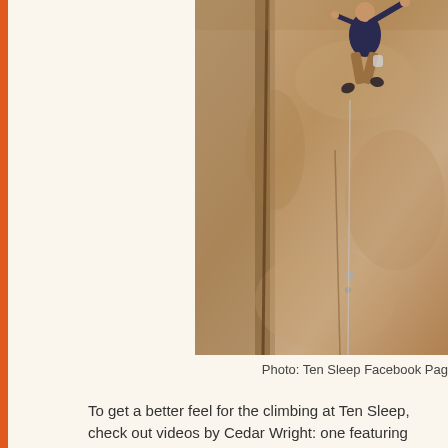[Figure (photo): A rock climber scaling a tall sandstone or limestone cliff face. The climber is wearing a dark shirt and tan/brown pants, reaching upward on the rock wall. The rock face is light beige/tan with natural cracks and textures. A rope is visible on the wall below the climber.]
Photo:  Ten Sleep Facebook Pag
To get a better feel for the climbing at Ten Sleep, check out videos by Cedar Wright:  one featuring Kevin Wilkinson climbing a